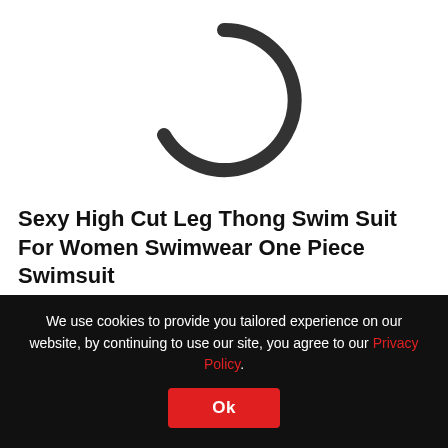[Figure (illustration): Partial loading spinner arc (dark grey curved arc, roughly 3/4 circle, on white background)]
Sexy High Cut Leg Thong Swim Suit For Women Swimwear One Piece Swimsuit
★★★★★ 13 Review(s)
$00.00
We use cookies to provide you tailored experience on our website, by continuing to use our site, you agree to our Privacy Policy. Ok